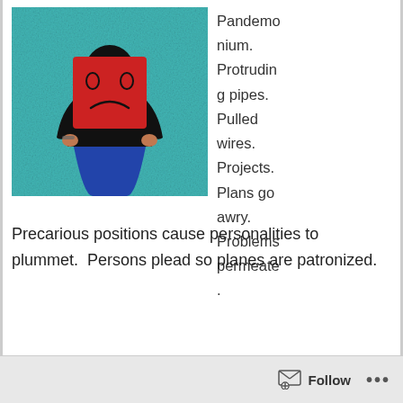[Figure (photo): Person sitting against a teal textured wall, holding a red card with a drawn sad face in front of their face. They are wearing a black top and blue jeans.]
Pandemonium. Protruding pipes. Pulled wires. Projects. Plans go awry. Problems permeate.
Precarious positions cause personalities to plummet.  Persons plead so planes are patronized.
Follow ...